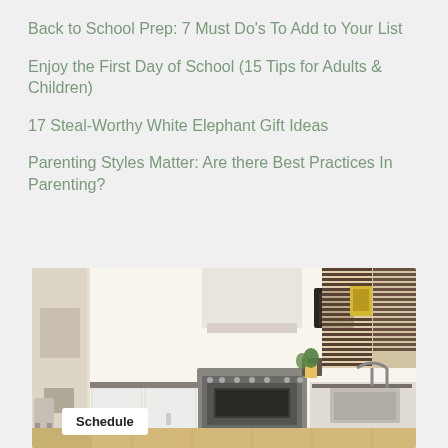Back to School Prep: 7 Must Do's To Add to Your List
Enjoy the First Day of School (15 Tips for Adults & Children)
17 Steal-Worthy White Elephant Gift Ideas
Parenting Styles Matter: Are there Best Practices In Parenting?
[Figure (photo): A bright modern kitchen with white cabinets, stainless steel range, wooden venetian blinds on windows, sink area with natural light, and yellow accents.]
Schedule